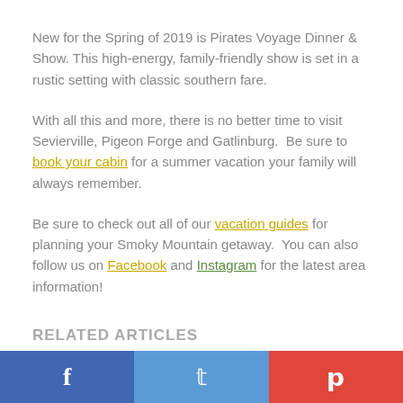New for the Spring of 2019 is Pirates Voyage Dinner & Show. This high-energy, family-friendly show is set in a rustic setting with classic southern fare.
With all this and more, there is no better time to visit Sevierville, Pigeon Forge and Gatlinburg.  Be sure to book your cabin for a summer vacation your family will always remember.
Be sure to check out all of our vacation guides for planning your Smoky Mountain getaway.  You can also follow us on Facebook and Instagram for the latest area information!
RELATED ARTICLES